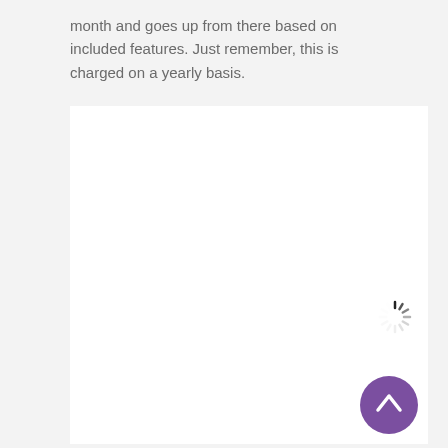month and goes up from there based on included features. Just remember, this is charged on a yearly basis.
[Figure (screenshot): White rectangular panel area (loading/content area), with a spinning loader icon in the lower right corner and a purple scroll-to-top button below it]